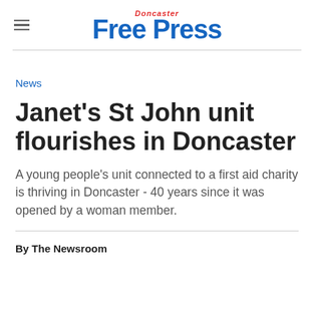Doncaster Free Press
News
Janet's St John unit flourishes in Doncaster
A young people's unit connected to a first aid charity is thriving in Doncaster - 40 years since it was opened by a woman member.
By The Newsroom